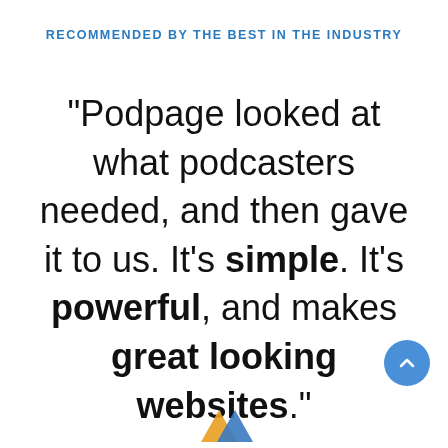RECOMMENDED BY THE BEST IN THE INDUSTRY
"Podpage looked at what podcasters needed, and then gave it to us. It's simple. It's powerful, and makes great looking websites."
[Figure (logo): Small logo with two overlapping triangles in orange and blue at bottom center of page]